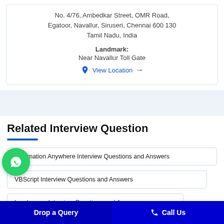No. 4/76, Ambedkar Street, OMR Road, Egatoor, Navallur, Siruseri, Chennai 600 130 Tamil Nadu, India
Landmark:
Near Navallur Toll Gate
View Location →
Related Interview Question
Automation Anywhere Interview Questions and Answers
VBScript Interview Questions and Answers
Loadrunner Interview Questions and Answers
Drop a Query   Call Us